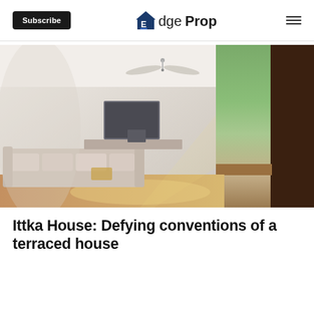Subscribe | EdgeProp
[Figure (photo): Interior photo of a modern terraced house living room with a large window on the right showing green trees outside. A beige sofa is visible in the foreground, a wall-mounted TV on the back wall, a ceiling fan, dark wood panel on far right, and a warm wooden sill along the window.]
Ittka House: Defying conventions of a terraced house